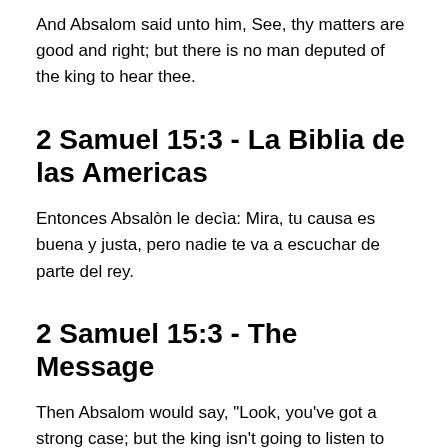Version
And Absalom said unto him, See, thy matters are good and right; but there is no man deputed of the king to hear thee.
2 Samuel 15:3 - La Biblia de las Americas
Entonces Absalòn le decìa: Mira, tu causa es buena y justa, pero nadie te va a escuchar de parte del rey.
2 Samuel 15:3 - The Message
Then Absalom would say, "Look, you've got a strong case; but the king isn't going to listen to you." Then he'd say, "Why doesn't someone make me a judge for this country? Anybody with a case could bring it to me and I'd settle things fair and square." Whenever someone would